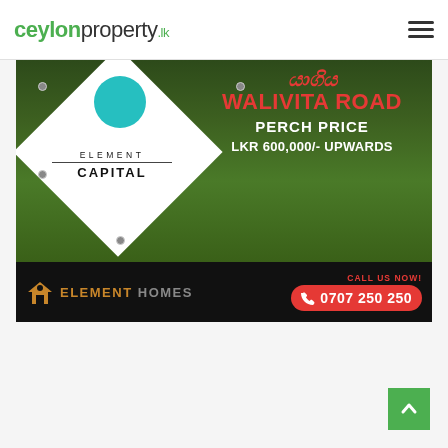ceylonproperty.lk
[Figure (photo): Element Capital / Element Homes real estate advertisement banner. Shows a white diamond shape with teal circle logo and 'ELEMENT CAPITAL' text on a green grass background. Right side shows 'WALIVITA ROAD' in red text, 'PERCH PRICE' and 'LKR 600,000/- UPWARDS' in white text. Bottom black bar shows Element Homes branding with phone number 0707 250 250.]